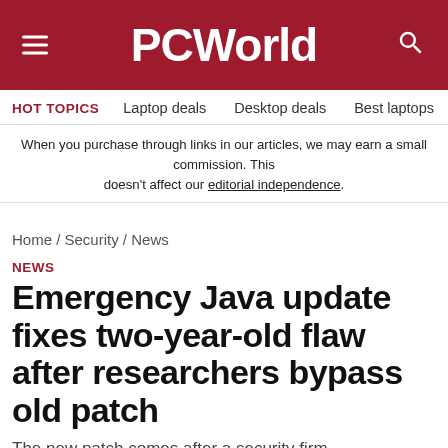PCWorld
HOT TOPICS  Laptop deals  Desktop deals  Best laptops  Best ch
When you purchase through links in our articles, we may earn a small commission. This doesn’t affect our editorial independence.
Home / Security / News
NEWS
Emergency Java update fixes two-year-old flaw after researchers bypass old patch
The new patch comes after a security firm